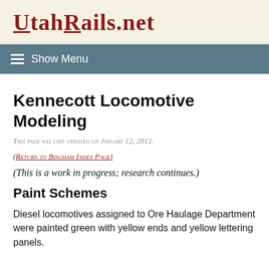UtahRails.net
Show Menu
Kennecott Locomotive Modeling
This page was last updated on January 12, 2012.
(Return to Bingham Index Page)
(This is a work in progress; research continues.)
Paint Schemes
Diesel locomotives assigned to Ore Haulage Department were painted green with yellow ends and yellow lettering panels.